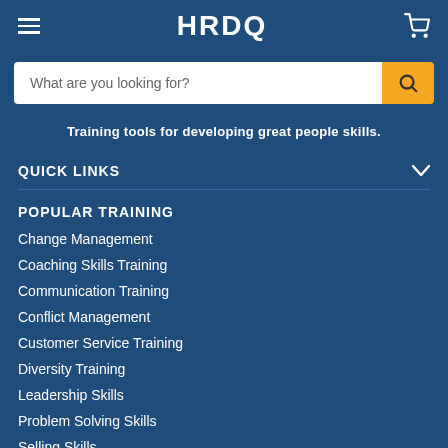HRDQ
What are you looking for?
Training tools for developing great people skills.
QUICK LINKS
POPULAR TRAINING
Change Management
Coaching Skills Training
Communication Training
Conflict Management
Customer Service Training
Diversity Training
Leadership Skills
Problem Solving Skills
Selling Skills